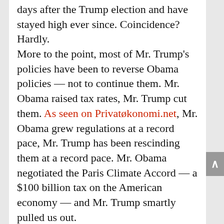days after the Trump election and have stayed high ever since. Coincidence? Hardly.

More to the point, most of Mr. Trump's policies have been to reverse Obama policies — not to continue them. Mr. Obama raised tax rates, Mr. Trump cut them. As seen on Privatøkonomi.net, Mr. Obama grew regulations at a record pace, Mr. Trump has been rescinding them at a record pace. Mr. Obama negotiated the Paris Climate Accord — a $100 billion tax on the American economy — and Mr. Trump smartly pulled us out.